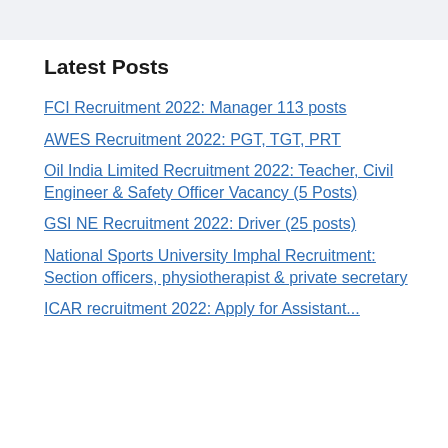Latest Posts
FCI Recruitment 2022: Manager 113 posts
AWES Recruitment 2022: PGT, TGT, PRT
Oil India Limited Recruitment 2022: Teacher, Civil Engineer & Safety Officer Vacancy (5 Posts)
GSI NE Recruitment 2022: Driver (25 posts)
National Sports University Imphal Recruitment: Section officers, physiotherapist & private secretary
ICAR recruitment 2022: Apply for Assistant...